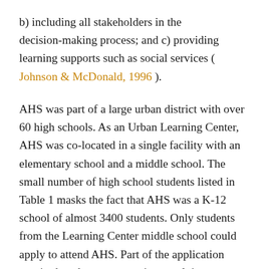b) including all stakeholders in the decision-making process; and c) providing learning supports such as social services ( Johnson & McDonald, 1996 ).
AHS was part of a large urban district with over 60 high schools. As an Urban Learning Center, AHS was co-located in a single facility with an elementary school and a middle school. The small number of high school students listed in Table 1 masks the fact that AHS was a K-12 school of almost 3400 students. Only students from the Learning Center middle school could apply to attend AHS. Part of the application required students to commit to applying to colleges and universities in their senior year, as the mission of AHS was to prepare the inner-city youth of this area for postsecondary